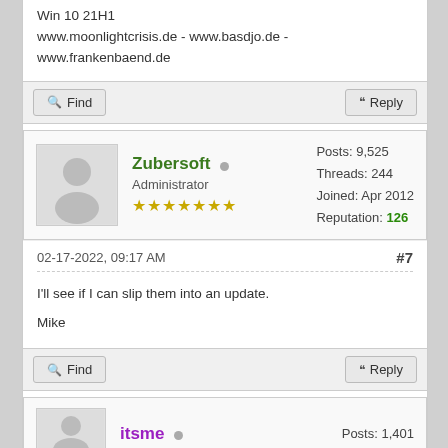Win 10 21H1
www.moonlightcrisis.de - www.basdjo.de - www.frankenbaend.de
Find
Reply
Zubersoft  Administrator  ★★★★★★★  Posts: 9,525  Threads: 244  Joined: Apr 2012  Reputation: 126
02-17-2022, 09:17 AM  #7
I'll see if I can slip them into an update.
Mike
Find
Reply
itsme  Posts: 1,401